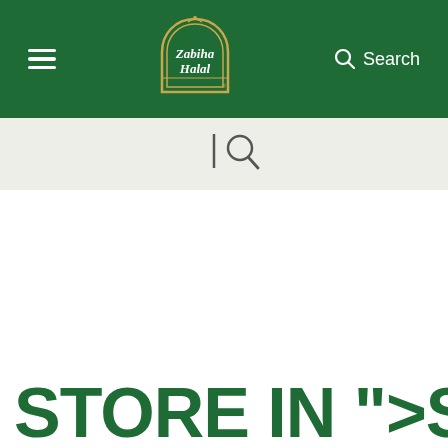Zabiha Halal — navigation header with hamburger menu, logo, and search
[Figure (logo): Zabiha Halal logo — green arch/dome shape with Arabic text at top, 'Zabiha Halal' text in white inside arch, on dark green background]
[Figure (other): Search icon (magnifying glass) with cursor bar on light beige sub-navigation bar]
STORE IN ">STORE IN